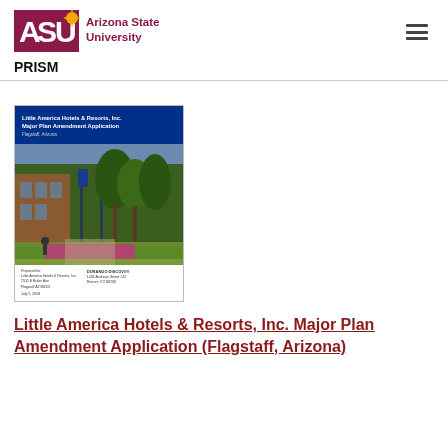ASU Arizona State University | PRISM
[Figure (screenshot): Cover page of the Little America Hotels & Resorts, Inc. Major Plan Amendment Application document, showing a blue header with white text, a photograph of a lodge/hotel exterior with trees and landscaping, and a white footer with submitter and preparer information.]
Little America Hotels & Resorts, Inc. Major Plan Amendment Application (Flagstaff, Arizona)